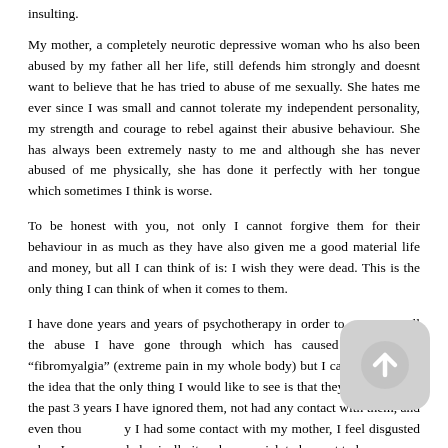insulting.
My mother, a completely neurotic depressive woman who hs also been abused by my father all her life, still defends him strongly and doesnt want to believe that he has tried to abuse of me sexually. She hates me ever since I was small and cannot tolerate my independent personality, my strength and courage to rebel against their abusive behaviour. She has always been extremely nasty to me and although she has never abused of me physically, she has done it perfectly with her tongue which sometimes I think is worse.
To be honest with you, not only I cannot forgive them for their behaviour in as much as they have also given me a good material life and money, but all I can think of is: I wish they were dead. This is the only thing I can think of when it comes to them.
I have done years and years of psychotherapy in order to overcome all the abuse I have gone through which has caused me to have “fibromyalgia” (extreme pain in my whole body) but I cannot get rid of the idea that the only thing I would like to see is that they are dead. For the past 3 years I have ignored them, not had any contact with them, and even though briefly I had some contact with my mother, I feel disgusted when I see her and physically it makes me sick to be next to her.